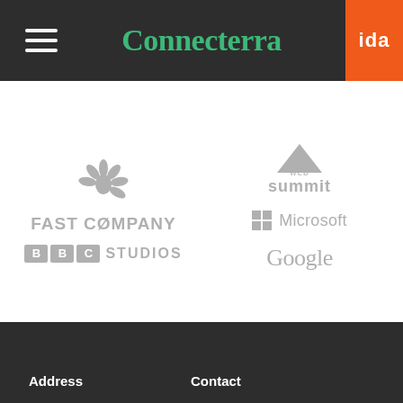Connecterra ida
[Figure (logo): NBC peacock logo (greyed out) above Fast Company wordmark, BBC Studios wordmark below — left column logos]
[Figure (logo): Web Summit logo with triangle above, Microsoft logo with grid squares, Google wordmark below — right column logos]
Address   Contact